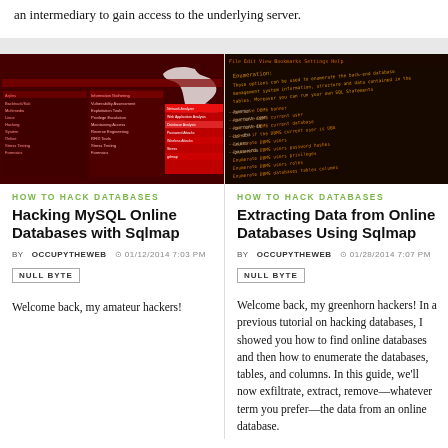an intermediary to gain access to the underlying server.
[Figure (screenshot): Dark red screenshot of Kali Linux menu showing penetration testing tools including network analyzer and exploit tools]
[Figure (screenshot): Dark terminal screenshot showing sqlmap enumeration options including retrieve DBMS banner, current user, current database, enumerate DBMS users, password hashes, privileges, roles, databases, tables, columns]
HOW TO HACK DATABASES
Hacking MySQL Online Databases with Sqlmap
BY OCCUPYTHEWEB  01/12/2014 7:03 PM
NULL BYTE
Welcome back, my amateur hackers!
HOW TO HACK DATABASES
Extracting Data from Online Databases Using Sqlmap
BY OCCUPYTHEWEB  01/28/2014 7:07 PM
NULL BYTE
Welcome back, my greenhorn hackers! In a previous tutorial on hacking databases, I showed you how to find online databases and then how to enumerate the databases, tables, and columns. In this guide, we'll now exfiltrate, extract, remove—whatever term you prefer—the data from an online database.